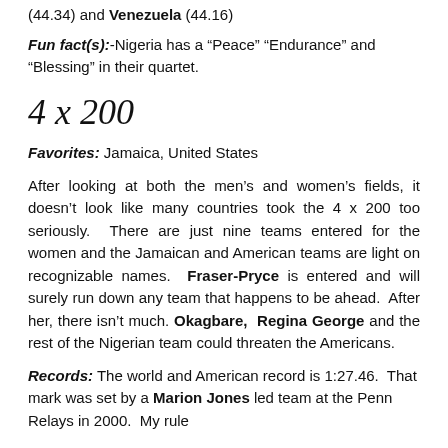(44.34) and Venezuela (44.16)
Fun fact(s):-Nigeria has a “Peace” “Endurance” and “Blessing” in their quartet.
4 x 200
Favorites: Jamaica, United States
After looking at both the men’s and women’s fields, it doesn’t look like many countries took the 4 x 200 too seriously. There are just nine teams entered for the women and the Jamaican and American teams are light on recognizable names. Fraser-Pryce is entered and will surely run down any team that happens to be ahead. After her, there isn’t much. Okagbare, Regina George and the rest of the Nigerian team could threaten the Americans.
Records: The world and American record is 1:27.46. That mark was set by a Marion Jones led team at the Penn Relays in 2000. My rule